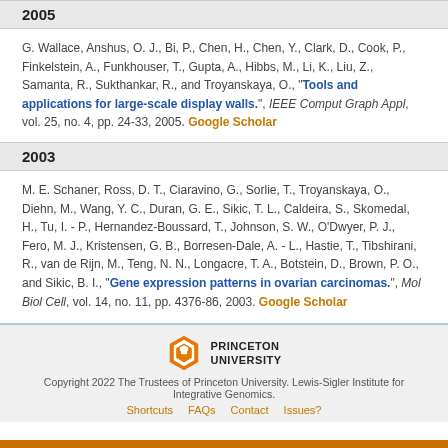2005
G. Wallace, Anshus, O. J., Bi, P., Chen, H., Chen, Y., Clark, D., Cook, P., Finkelstein, A., Funkhouser, T., Gupta, A., Hibbs, M., Li, K., Liu, Z., Samanta, R., Sukthankar, R., and Troyanskaya, O., "Tools and applications for large-scale display walls.", IEEE Comput Graph Appl, vol. 25, no. 4, pp. 24-33, 2005. Google Scholar
2003
M. E. Schaner, Ross, D. T., Ciaravino, G., Sorlie, T., Troyanskaya, O., Diehn, M., Wang, Y. C., Duran, G. E., Sikic, T. L., Caldeira, S., Skomedal, H., Tu, I. - P., Hernandez-Boussard, T., Johnson, S. W., O'Dwyer, P. J., Fero, M. J., Kristensen, G. B., Borresen-Dale, A. - L., Hastie, T., Tibshirani, R., van de Rijn, M., Teng, N. N., Longacre, T. A., Botstein, D., Brown, P. O., and Sikic, B. I., "Gene expression patterns in ovarian carcinomas.", Mol Biol Cell, vol. 14, no. 11, pp. 4376-86, 2003. Google Scholar
Copyright 2022 The Trustees of Princeton University. Lewis-Sigler Institute for Integrative Genomics. Shortcuts FAQs Contact Issues?